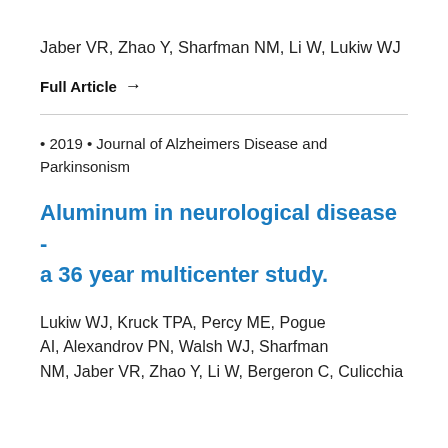Jaber VR, Zhao Y, Sharfman NM, Li W, Lukiw WJ
Full Article →
• 2019 • Journal of Alzheimers Disease and Parkinsonism
Aluminum in neurological disease - a 36 year multicenter study.
Lukiw WJ, Kruck TPA, Percy ME, Pogue AI, Alexandrov PN, Walsh WJ, Sharfman NM, Jaber VR, Zhao Y, Li W, Bergeron C, Culicchia